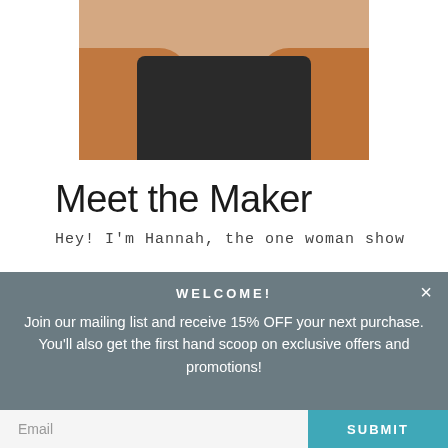[Figure (photo): Partial photo of a woman wearing a black top and rust/brown cardigan, cropped at the torso]
Meet the Maker
Hey! I'm Hannah, the one woman show
WELCOME!
Join our mailing list and receive 15% OFF your next purchase. You'll also get the first hand scoop on exclusive offers and promotions!
Email  SUBMIT